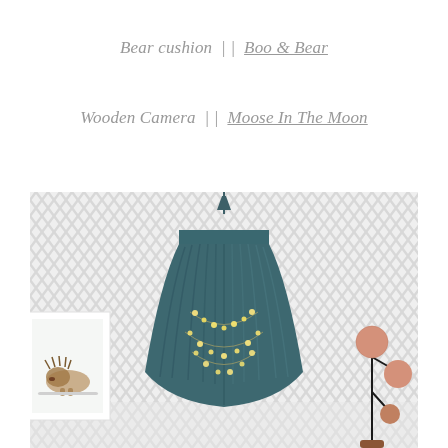Bear cushion || Boo & Bear
Wooden Camera || Moose In The Moon
[Figure (photo): Interior room photo showing a teal/dark blue fabric canopy hanging from the ceiling in a corner with white herringbone wallpaper. Inside the canopy are fairy lights. On the left side is a framed animal print (appears to be a hedgehog or bear). On the right side is a modern decorative lamp with round wooden elements.]